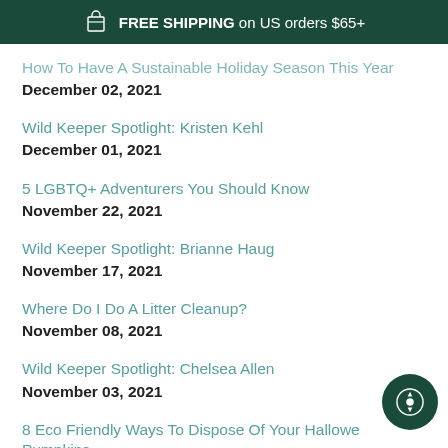FREE SHIPPING on US orders $65+
How To Have A Sustainable Holiday Season This Year
December 02, 2021
Wild Keeper Spotlight: Kristen Kehl
December 01, 2021
5 LGBTQ+ Adventurers You Should Know
November 22, 2021
Wild Keeper Spotlight: Brianne Haug
November 17, 2021
Where Do I Do A Litter Cleanup?
November 08, 2021
Wild Keeper Spotlight: Chelsea Allen
November 03, 2021
8 Eco Friendly Ways To Dispose Of Your Halloween Pumpkins
October 20, 2021